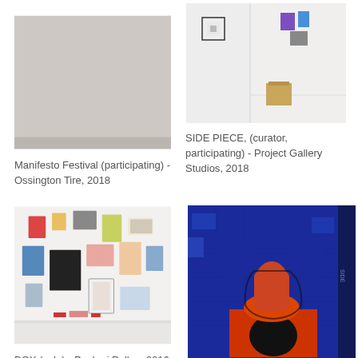[Figure (photo): Gallery wall with gray/beige painted surface, minimal installation view]
Manifesto Festival (participating) - Ossington Tire, 2018
[Figure (photo): White gallery room with small framed artworks on wall and a wooden box on the floor]
SIDE PIECE, (curator, participating) - Project Gallery Studios, 2018
[Figure (photo): Gallery wall covered with many small artworks, prints, and photographs arranged in a salon-style hang]
BOX (solo) - Pushmi Pullyu, 2016
[Figure (photo): Colorful blue mural/painting with an orange cone-like figure on a red square with a black circle, graffiti-style]